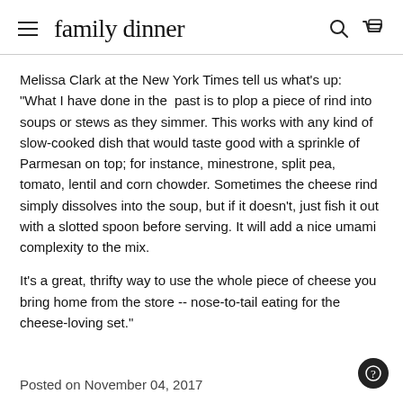family dinner
Melissa Clark at the New York Times tell us what's up: "What I have done in the past is to plop a piece of rind into soups or stews as they simmer. This works with any kind of slow-cooked dish that would taste good with a sprinkle of Parmesan on top; for instance, minestrone, split pea, tomato, lentil and corn chowder. Sometimes the cheese rind simply dissolves into the soup, but if it doesn't, just fish it out with a slotted spoon before serving. It will add a nice umami complexity to the mix.
It's a great, thrifty way to use the whole piece of cheese you bring home from the store -- nose-to-tail eating for the cheese-loving set."
Posted on November 04, 2017